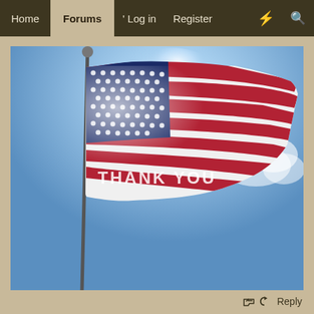Home | Forums | Log in | Register
[Figure (photo): American flag waving against a blue sky with bright sunlight, viewed from below. Text overlay reads THANK YOU in white letters.]
Reply